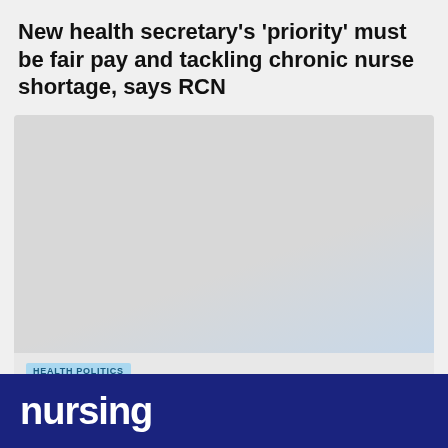New health secretary's 'priority' must be fair pay and tackling chronic nurse shortage, says RCN
[Figure (photo): Large image placeholder for an article photo, light grey with slight blue tint in lower right corner]
HEALTH POLITICS
Matt Hancock resigns as Health Secretary
nursing